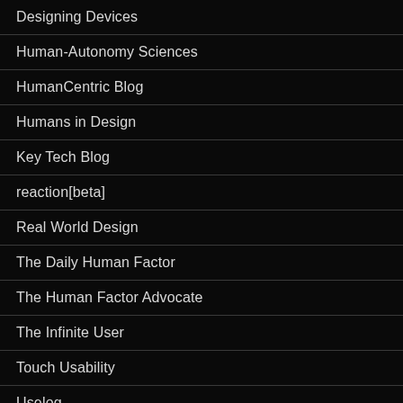Designing Devices
Human-Autonomy Sciences
HumanCentric Blog
Humans in Design
Key Tech Blog
reaction[beta]
Real World Design
The Daily Human Factor
The Human Factor Advocate
The Infinite User
Touch Usability
Uselog